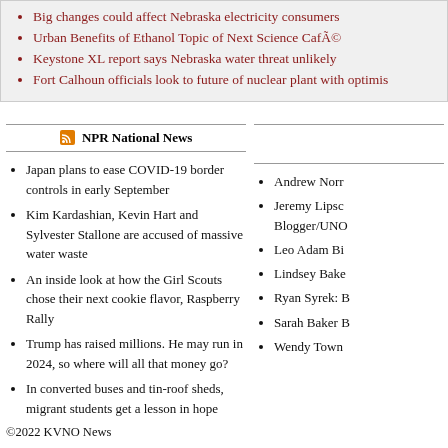Big changes could affect Nebraska electricity consumers
Urban Benefits of Ethanol Topic of Next Science Café
Keystone XL report says Nebraska water threat unlikely
Fort Calhoun officials look to future of nuclear plant with optimism
NPR National News
Japan plans to ease COVID-19 border controls in early September
Kim Kardashian, Kevin Hart and Sylvester Stallone are accused of massive water waste
An inside look at how the Girl Scouts chose their next cookie flavor, Raspberry Rally
Trump has raised millions. He may run in 2024, so where will all that money go?
In converted buses and tin-roof sheds, migrant students get a lesson in hope
Andrew Norr
Jeremy Lipsc... Blogger/UNO
Leo Adam Bi
Lindsey Bake
Ryan Syrek: B
Sarah Baker B
Wendy Town
©2022 KVNO News